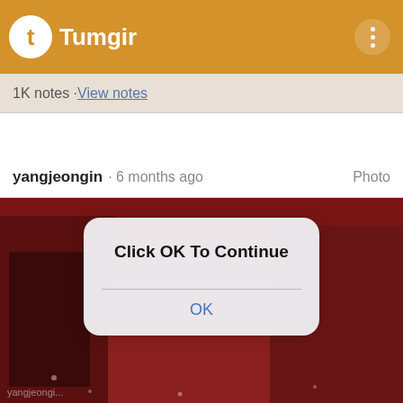Tumgir
1K notes · View notes
yangjeongin · 6 months ago   Photo
[Figure (screenshot): Background photo of K-pop performers in red-themed setting with a modal dialog overlay reading 'Click OK To Continue' with an OK button]
Click OK To Continue
OK